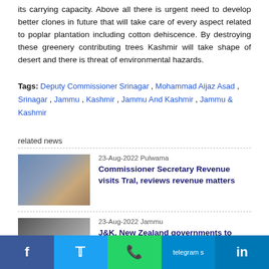its carrying capacity. Above all there is urgent need to develop better clones in future that will take care of every aspect related to poplar plantation including cotton dehiscence. By destroying these greenery contributing trees Kashmir will take shape of desert and there is threat of environmental hazards.
Tags: Deputy Commissioner Srinagar , Mohammad Aijaz Asad , Srinagar , Jammu , Kashmir , Jammu And Kashmir , Jammu & Kashmir
related news
23-Aug-2022 Pulwama
Commissioner Secretary Revenue visits Tral, reviews revenue matters
[Figure (photo): Photo of a meeting room with people seated around a table, with a banner visible in the background.]
23-Aug-2022 Jammu
J&K, New Zealand governments to jointly
[Figure (photo): Photo showing a partial view, possibly an indoor scene.]
Facebook | Twitter | WhatsApp | Telegram | LinkedIn